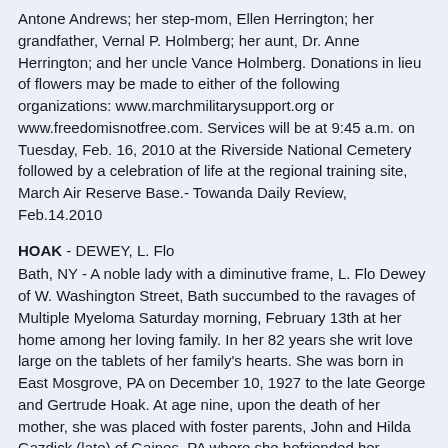Antone Andrews; her step-mom, Ellen Herrington; her grandfather, Vernal P. Holmberg; her aunt, Dr. Anne Herrington; and her uncle Vance Holmberg. Donations in lieu of flowers may be made to either of the following organizations: www.marchmilitarysupport.org or www.freedomisnotfree.com. Services will be at 9:45 a.m. on Tuesday, Feb. 16, 2010 at the Riverside National Cemetery followed by a celebration of life at the regional training site, March Air Reserve Base.- Towanda Daily Review, Feb.14.2010
HOAK - DEWEY, L. Flo
Bath, NY - A noble lady with a diminutive frame, L. Flo Dewey of W. Washington Street, Bath succumbed to the ravages of Multiple Myeloma Saturday morning, February 13th at her home among her loving family. In her 82 years she writ love large on the tablets of her family's hearts. She was born in East Mosgrove, PA on December 10, 1927 to the late George and Gertrude Hoak. At age nine, upon the death of her mother, she was placed with foster parents, John and Hilda Gazdick (late) of Gaines, PA where she befriended her husband-to-be, the Rev. Dr. Keith M. Dewey. After graduating with Keith in the same 1945 Gaines H.S. class, (she as valedictorian); she studied piano at Mansfield University; and made Lamda Mu (a national music honor society). They were married at the Gaines U.M. Church on June 28, 1947 and went to New Mexico where her soldier-husband was stationed. Surviving